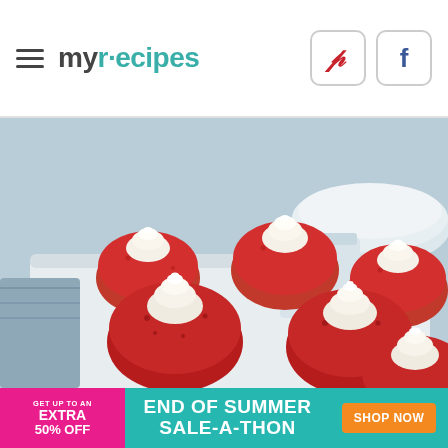myrecipes — Pinterest and Facebook social links
[Figure (photo): Cream cheese filled strawberries arranged on a white plate, shot from above at an angle against a light blue background. Six halved strawberries each topped with a swirl of white cream cheese filling.]
[Figure (infographic): Advertisement banner: GET UP TO AN EXTRA 50% OFF — END OF SUMMER SALE-A-THON — SHOP NOW button]